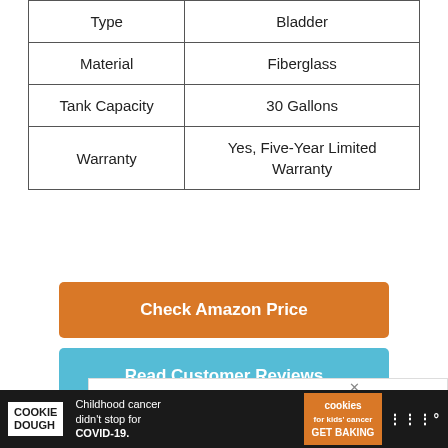| Type | Bladder |
| Material | Fiberglass |
| Tank Capacity | 30 Gallons |
| Warranty | Yes, Five-Year Limited Warranty |
Check Amazon Price
Read Customer Reviews
[Figure (screenshot): Advertisement banner: I'm Baking with image of person]
COOKIE DOUGH | Childhood cancer didn't stop for COVID-19. | cookies for kids' cancer GET BAKING